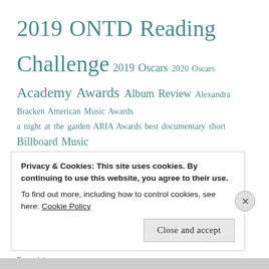[Figure (infographic): Tag cloud with various topic tags in teal/green color at different font sizes. Tags include: 2019 ONTD Reading Challenge (largest), 2019 Oscars, 2020 Oscars, Academy Awards, Album Review, Alexandra Bracken, American Music Awards, a night at the garden, ARIA Awards, best documentary short, Billboard Music Awards, black sheep, Book Reviews (very large), Books, Book Series, Brit Awards, Camp Nanowrimo, Catherine Kerrison, Charlotte Bronte, Classics, Daphne du Maurier, dogs, Dystopia, Elena Ferrante, Essays, Eurovision, Fiction (very large), Grammy Awards, Graphic Novel, Hereditary, Historical Fiction, History, Hitchcock, HUMOR, Ibi Zoboi, Jane Green, Libba Bray]
Privacy & Cookies: This site uses cookies. By continuing to use this website, you agree to their use.
To find out more, including how to control cookies, see here: Cookie Policy